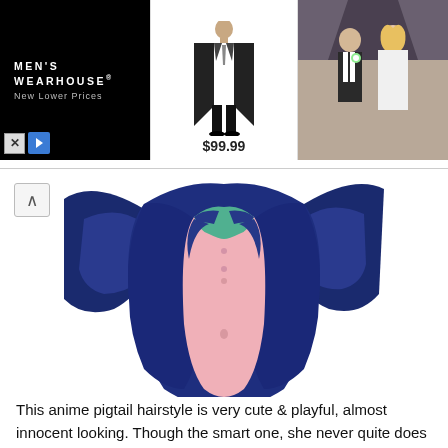[Figure (photo): Men's Wearhouse advertisement banner showing logo on black background, a man in a black suit priced at $99.99, and a wedding couple photo on the right]
[Figure (illustration): Anime-style illustration of a character wearing an open dark blue jacket/coat, revealing a pink torso underneath, with a green collar or accessory visible at the top]
This anime pigtail hairstyle is very cute & playful, almost innocent looking. Though the smart one, she never quite does her homework on time. Trying to be cool, she wears her hair in pigtails but also covers one eye with her blonde locks. 13.5.2020 · best anime pigtail hairstyles from anime hairstyles for a fun halloween look.source image: If you want